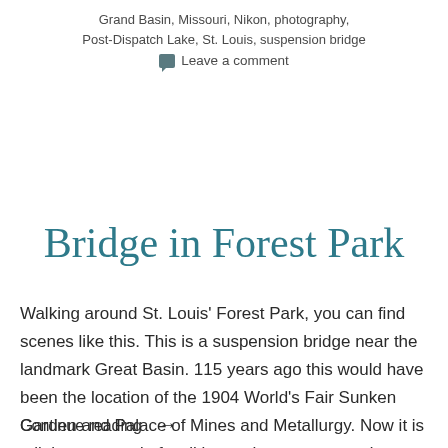Grand Basin, Missouri, Nikon, photography, Post-Dispatch Lake, St. Louis, suspension bridge
Leave a comment
Bridge in Forest Park
Walking around St. Louis' Forest Park, you can find scenes like this. This is a suspension bridge near the landmark Great Basin. 115 years ago this would have been the location of the 1904 World's Fair Sunken Garden and Palace of Mines and Metallurgy. Now it is a little crossroad of walking paths, streams and
Continue reading →